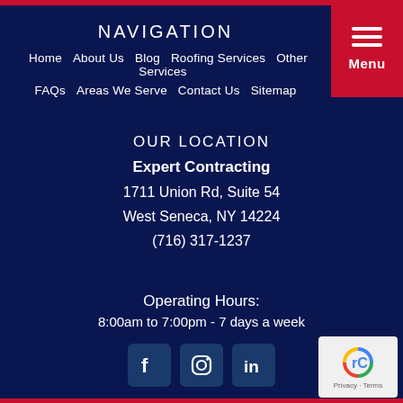NAVIGATION
Home   About Us   Blog   Roofing Services   Other Services
FAQs   Areas We Serve   Contact Us   Sitemap
OUR LOCATION
Expert Contracting
1711 Union Rd, Suite 54
West Seneca, NY 14224
(716) 317-1237
Operating Hours:
8:00am to 7:00pm - 7 days a week
[Figure (infographic): Social media icons: Facebook, Instagram, LinkedIn on dark blue square backgrounds]
[Figure (logo): Google reCAPTCHA badge with Privacy and Terms links]